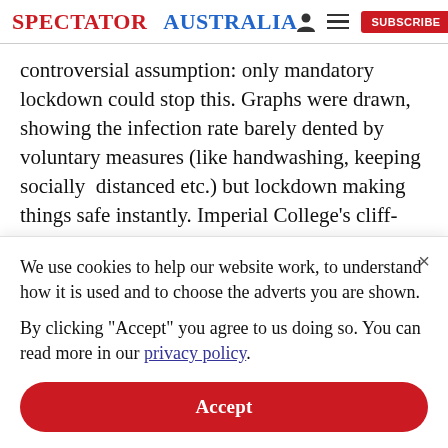SPECTATOR | AUSTRALIA
controversial assumption: only mandatory lockdown could stop this. Graphs were drawn, showing the infection rate barely dented by voluntary measures (like handwashing, keeping socially  distanced etc.) but lockdown making things safe instantly. Imperial College's cliff-edge graph had huge traction (the below
We use cookies to help our website work, to understand how it is used and to choose the adverts you are shown.
By clicking "Accept" you agree to us doing so. You can read more in our privacy policy.
Accept